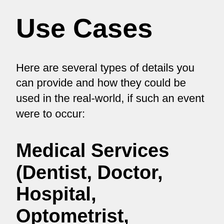Use Cases
Here are several types of details you can provide and how they could be used in the real-world, if such an event were to occur:
Medical Services (Dentist, Doctor, Hospital, Optometrist, Pharmacy)
If a guest requires urgent medical